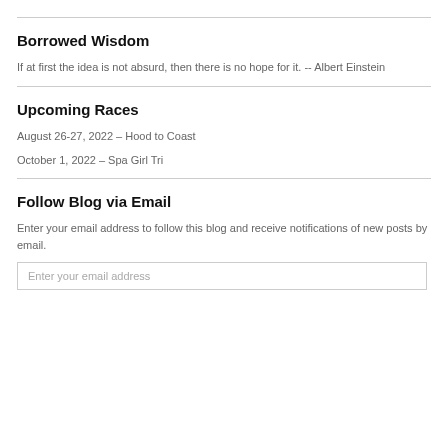Borrowed Wisdom
If at first the idea is not absurd, then there is no hope for it. -- Albert Einstein
Upcoming Races
August 26-27, 2022 – Hood to Coast
October 1, 2022 – Spa Girl Tri
Follow Blog via Email
Enter your email address to follow this blog and receive notifications of new posts by email.
Enter your email address